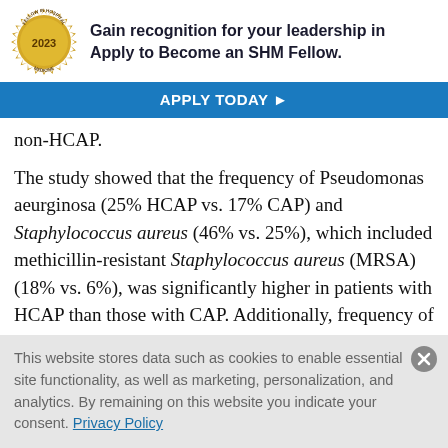[Figure (infographic): Gold seal/badge with '2023' and 'FELLOW IN HOSPITAL MEDICINE' text, next to bold text: 'Gain recognition for your leadership in... Apply to Become an SHM Fellow.' with a blue 'APPLY TODAY ▶' button below.]
non-HCAP.
The study showed that the frequency of Pseudomonas aeurginosa (25% HCAP vs. 17% CAP) and Staphylococcus aureus (46% vs. 25%), which included methicillin-resistant Staphylococcus aureus (MRSA) (18% vs. 6%), was significantly higher in patients with HCAP than those with CAP. Additionally, frequency of Streptococcus pneumoniae (5% vs. 16%) and
This website stores data such as cookies to enable essential site functionality, as well as marketing, personalization, and analytics. By remaining on this website you indicate your consent. Privacy Policy